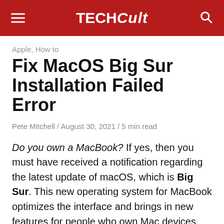TECH Cult
Apple, How to
Fix MacOS Big Sur Installation Failed Error
Pete Mitchell / August 30, 2021 / 5 min read
Do you own a MacBook? If yes, then you must have received a notification regarding the latest update of macOS, which is Big Sur. This new operating system for MacBook optimizes the interface and brings in new features for people who own Mac devices. Clearly, you must have tried to update your